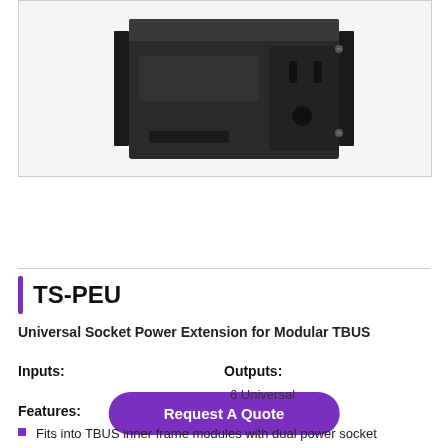[Figure (photo): Product photo of TS-PEU Universal Socket Power Extension module showing a black rectangular device with power socket openings, mounted in a frame with visible screws]
Request A Quote
TS-PEU
Universal Socket Power Extension for Modular TBUS
Inputs:
Outputs:
6 Universal
Features:
Fits into TBUS inner frame modules with dual power socket openings